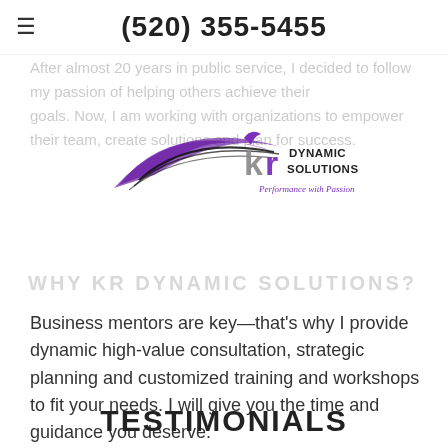☰  (520) 355-5455
After almost 20 years in public service, I decided to follow my passion of helping others achieve their goals. Now, I am working with organizations to empower their team, create solutions and plan for success.
[Figure (logo): KR Dynamic Solutions logo with stylized purple wing/feather graphic, 'kr' in grey/purple letters, 'DYNAMIC SOLUTIONS' in black caps, and 'Performance with Passion' in purple italic script]
WHY KR DYNAMIC SOLUTIONS?
Business mentors are key—that's why I provide dynamic high-value consultation, strategic planning and customized training and workshops to fit your needs. I will give you the time and guidance you deserve.
FIND OUT MORE
TESTIMONIALS